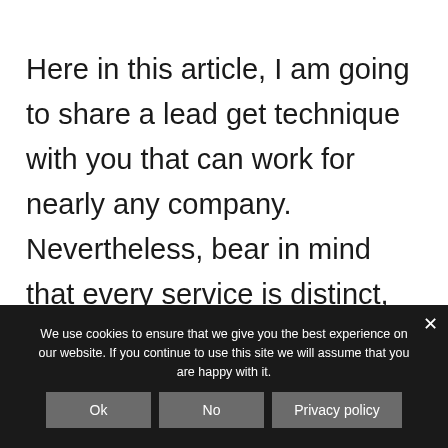Here in this article, I am going to share a lead get technique with you that can work for nearly any company. Nevertheless, bear in mind that every service is distinct, and there can be some small differences depending on your specific service design.
We use cookies to ensure that we give you the best experience on our website. If you continue to use this site we will assume that you are happy with it.